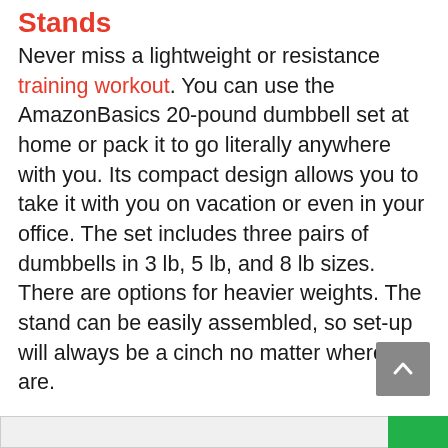Stands
Never miss a lightweight or resistance training workout. You can use the AmazonBasics 20-pound dumbbell set at home or pack it to go literally anywhere with you. Its compact design allows you to take it with you on vacation or even in your office. The set includes three pairs of dumbbells in 3 lb, 5 lb, and 8 lb sizes. There are options for heavier weights. The stand can be easily assembled, so set-up will always be a cinch no matter where you are.